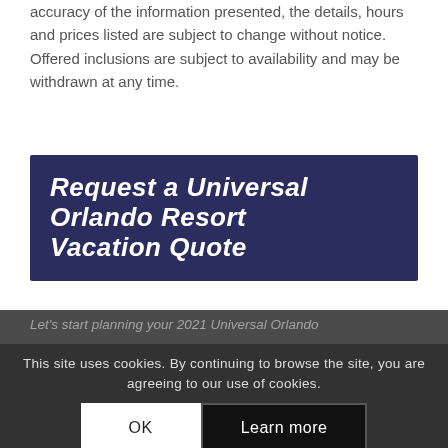While we make every effort to ensure the accuracy of the information presented, the details, hours and prices listed are subject to change without notice. Offered inclusions are subject to availability and may be withdrawn at any time.
[Figure (illustration): Dark navy blue banner with bold italic white text reading 'Request a Universal Orlando Resort Vacation Quote']
Let's start planning your 2021 Universal Orlando
This site uses cookies. By continuing to browse the site, you are agreeing to our use of cookies.
Get a FREE Vacation Quote from one of our travel consultants. Start planning your Universal Orlando Resort vacation today!